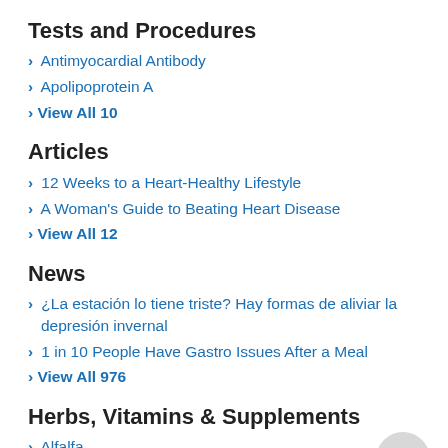Tests and Procedures
Antimyocardial Antibody
Apolipoprotein A
View All 10
Articles
12 Weeks to a Heart-Healthy Lifestyle
A Woman's Guide to Beating Heart Disease
View All 12
News
¿La estación lo tiene triste? Hay formas de aliviar la depresión invernal
1 in 10 People Have Gastro Issues After a Meal
View All 976
Herbs, Vitamins & Supplements
Alfalfa
Antioxidants